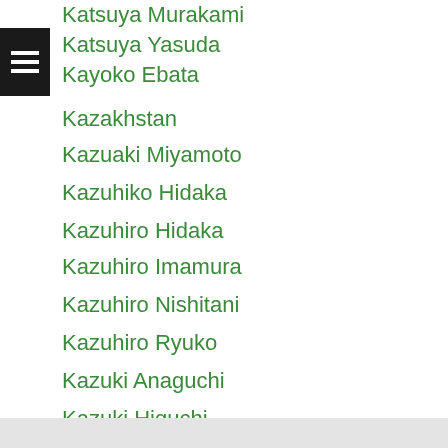Katsuya Murakami
Katsuya Yasuda
Kayoko Ebata
Kazakhstan
Kazuaki Miyamoto
Kazuhiko Hidaka
Kazuhiro Hidaka
Kazuhiro Imamura
Kazuhiro Nishitani
Kazuhiro Ryuko
Kazuki Anaguchi
Kazuki Higuchi
Kazuki Kyohara
Kazuki Matsuyama
Kazuki Nakajima
Kazuki Saito
[Figure (screenshot): Infolinks advertisement banner for Tally app: Fast credit card payoff, with Download Now button]